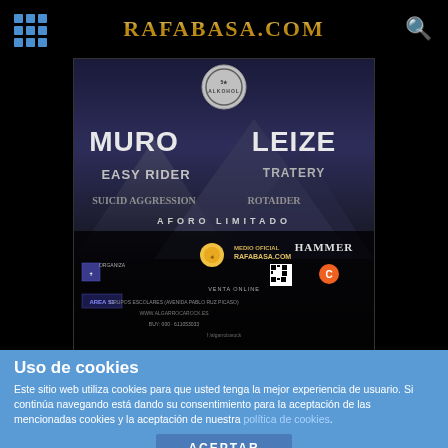RAFABASA.COM
[Figure (photo): Concert/festival promotional poster featuring bands MURO, LEIZE, EASY RIDER, TRATERY, and others. Mentions AFORO LIMITADO, MEDIO OFICIAL RAFABASA.COM, HAMMER, AREA 51, with venue info for Algarrobo Rock festival.]
[Figure (photo): Band photo with band logo overlay in red/pink tones, showing four male band members against a brick wall background.]
[Figure (photo): ROULETTE concert poster - dark background with brick arch imagery, showing SEPTIEMBRE'22 date, 15/09 CIUDAD REAL - SALA NANA.]
Uso de cookies
Este sitio web utiliza cookies para que usted tenga la mejor experiencia de usuario. Si continúa navegando está dando su consentimiento para la aceptación de las mencionadas cookies y la aceptación de nuestra política de cookies.
ACEPTAR